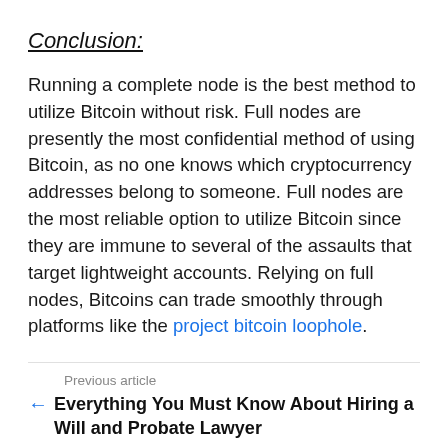Conclusion:
Running a complete node is the best method to utilize Bitcoin without risk. Full nodes are presently the most confidential method of using Bitcoin, as no one knows which cryptocurrency addresses belong to someone. Full nodes are the most reliable option to utilize Bitcoin since they are immune to several of the assaults that target lightweight accounts. Relying on full nodes, Bitcoins can trade smoothly through platforms like the project bitcoin loophole.
Previous article
Everything You Must Know About Hiring a Will and Probate Lawyer